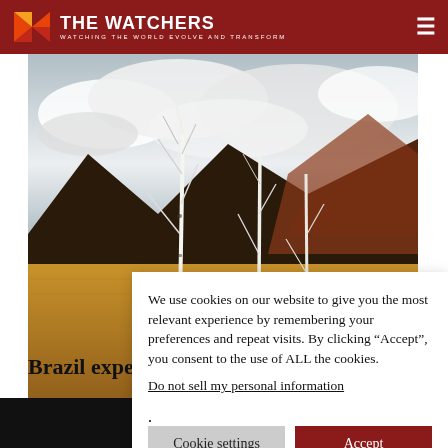THE WATCHERS — WATCHING THE WORLD EVOLVE AND TRANSFORM
[Figure (photo): Landscape photo showing bare white birch trees in autumn grassland with dark mountains and cloudy sky in background]
We use cookies on our website to give you the most relevant experience by remembering your preferences and repeat visits. By clicking “Accept”, you consent to the use of ALL the cookies.
Do not sell my personal information.
Brazil expe